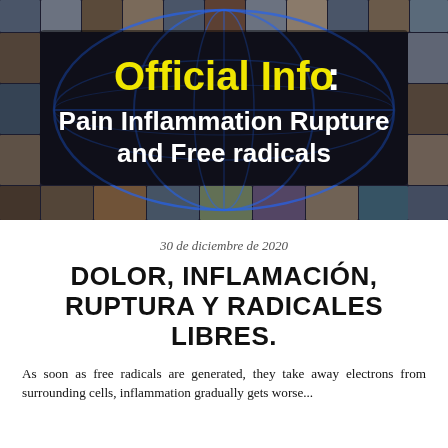[Figure (photo): Dark banner image showing a collage of diverse human faces arranged in a globe/network pattern with blue connecting lines. Overlaid text reads 'Official Info: Pain Inflammation Rupture and Free radicals'.]
30 de diciembre de 2020
DOLOR, INFLAMACIÓN, RUPTURA Y RADICALES LIBRES.
As soon as free radicals are generated, they take away electrons from surrounding cells, inflammation gradually gets worse...